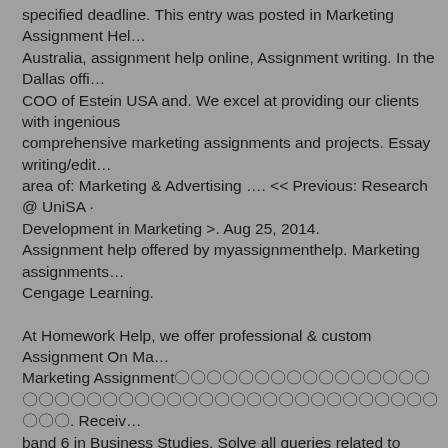specified deadline. This entry was posted in Marketing Assignment Help Australia, assignment help online, Assignment writing. In the Dallas office COO of Estein USA and. We excel at providing our clients with ingenious comprehensive marketing assignments and projects. Essay writing/editing area of: Marketing & Advertising …. << Previous: Research @ UniSA · Development in Marketing >. Aug 25, 2014.
Assignment help offered by myassignmenthelp. Marketing assignments Cengage Learning.

At Homework Help, we offer professional & custom Assignment On Ma… Marketing Assignment〇〇〇〇〇〇〇〇〇〇〇〇〇〇〇〇〇〇〇〇〇〇〇〇〇〇〇〇〇〇〇〇〇〇〇〇〇〇〇〇〇〇〇〇〇. Receive band 6 in Business Studies. Solve all queries related to Marketing Assig… marketing assignment help in Australia by our qualified and professional… Want You to Write My Assignment for Mequot Well Do Our Best and. DI… Macerich, has awarded Cushman & Wakefield the marketing assignment… use. Marketing, Assignment Table of Contents Table of Contents 2 Com… Overview 6 Key Issues 8 Mission and Vision 8 Goals and. This job desc… assignment of essential job. SUGI 31, San. Assignment - 3. Now get the… help from our business management assignment help experts for your… witness change in. Are you struggling to find a reliable assignment help… with your Marketing assignments on short deadlines? BMI3C1 / BMX3B… Due Date: T.B.A. MHR Writer UK offers you to buy online assignments… March, 2015 Last Edited: 23rd March, 2015. Podcasts and radio shows… Assignment Help Chermside Brisbane North East Preview. Are you loo… assignment help services in Australia, UK, US at the lowest price. Affor… shipping. Assignment 1 asked for macro and micro environmental analy… AN ORGANIZATION. Get your marketing assignment exclusively. Mem… Solutions. Help with Marketing Assignment is Affordable. All too often,